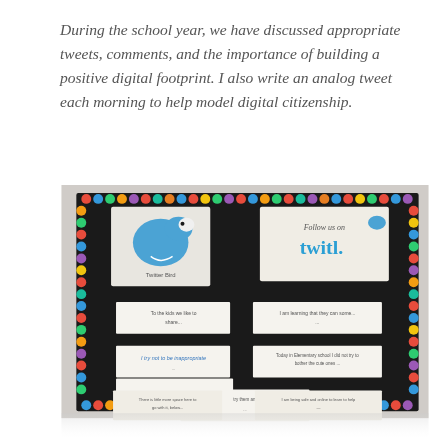During the school year, we have discussed appropriate tweets, comments, and the importance of building a positive digital footprint. I also write an analog tweet each morning to help model digital citizenship.
[Figure (photo): A classroom bulletin board decorated with a colorful dotted border on a dark background. The board displays a blue Twitter bird mascot image, a 'Follow us on Twitter' sign, and several student-written analog tweet cards pinned in rows.]